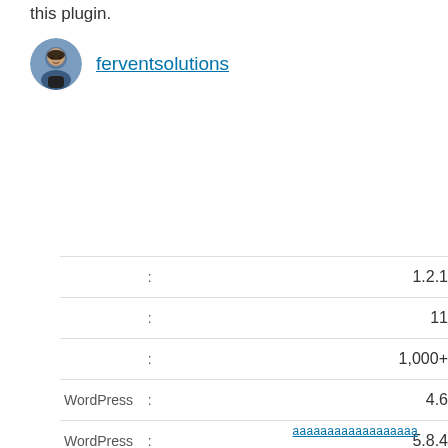this plugin.
ferventsolutions
|  | : | 1.2.1 |
|  | : | 11 |
|  | : | 1,000+ |
| WordPress | : | 4.6 |
| WordPress | : | 5.8.4 |
|  | : | English (US) |
|  | : | custom post type  divi  elegant themes  post type  search |
ааааааааааааааааа